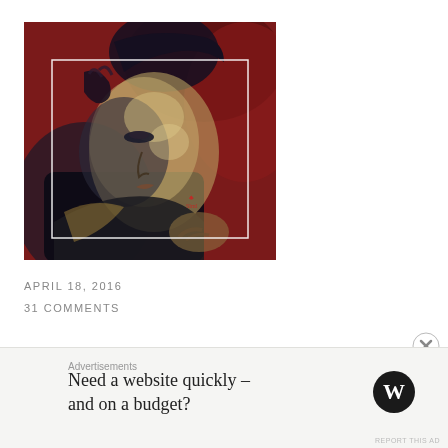[Figure (illustration): Oil or pastel painting of a man with dark hair, eyes closed, hand raised to his head, on a dark red background. A white rectangle border is overlaid on the image. The painting has a dramatic, expressionistic style with dark blues, yellows, and deep reds.]
APRIL 18, 2016
31 COMMENTS
Advertisements
Need a website quickly – and on a budget?
[Figure (logo): WordPress logo — a bold W inside a circle]